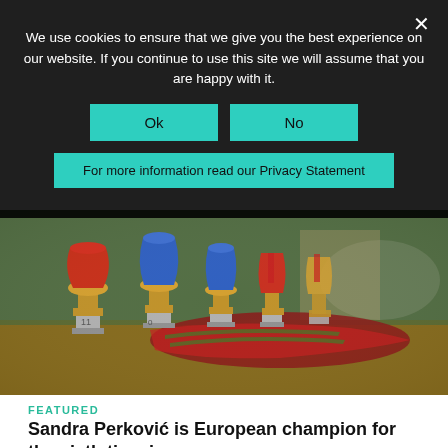We use cookies to ensure that we give you the best experience on our website. If you continue to use this site we will assume that you are happy with it.
Ok
No
For more information read our Privacy Statement
[Figure (photo): Sports trophies (blue and gold cups with red ribbons) and medals (red and green ribbons) arranged on a table, with a tennis court visible in the background.]
FEATURED
Sandra Perković is European champion for the sixth time in a row